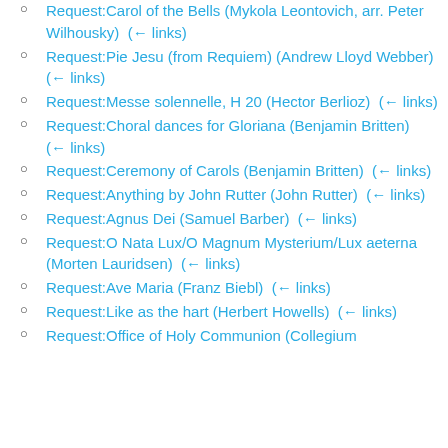Request:Carol of the Bells (Mykola Leontovich, arr. Peter Wilhousky)  (← links)
Request:Pie Jesu (from Requiem) (Andrew Lloyd Webber)  (← links)
Request:Messe solennelle, H 20 (Hector Berlioz)  (← links)
Request:Choral dances for Gloriana (Benjamin Britten)  (← links)
Request:Ceremony of Carols (Benjamin Britten)  (← links)
Request:Anything by John Rutter (John Rutter)  (← links)
Request:Agnus Dei (Samuel Barber)  (← links)
Request:O Nata Lux/O Magnum Mysterium/Lux aeterna (Morten Lauridsen)  (← links)
Request:Ave Maria (Franz Biebl)  (← links)
Request:Like as the hart (Herbert Howells)  (← links)
Request:Office of Holy Communion (Collegium